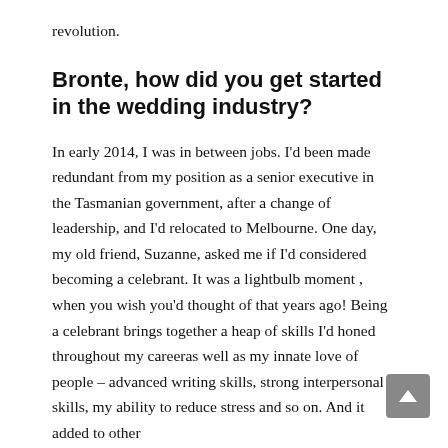revolution.
Bronte, how did you get started in the wedding industry?
In early 2014, I was in between jobs. I'd been made redundant from my position as a senior executive in the Tasmanian government, after a change of leadership, and I'd relocated to Melbourne. One day, my old friend, Suzanne, asked me if I'd considered becoming a celebrant. It was a lightbulb moment , when you wish you'd thought of that years ago! Being a celebrant brings together a heap of skills I'd honed throughout my careeras well as my innate love of people – advanced writing skills, strong interpersonal skills, my ability to reduce stress and so on. And it added to other